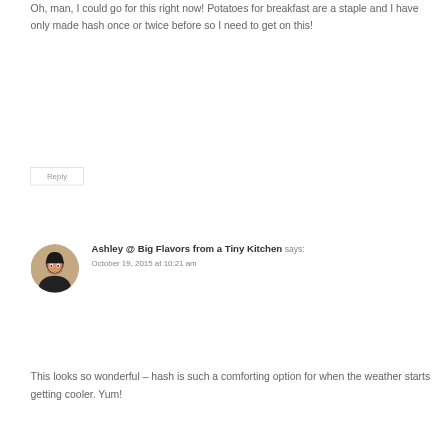Oh, man, I could go for this right now! Potatoes for breakfast are a staple and I have only made hash once or twice before so I need to get on this!
Reply
Ashley @ Big Flavors from a Tiny Kitchen says:
October 19, 2015 at 10:21 am
This looks so wonderful – hash is such a comforting option for when the weather starts getting cooler. Yum!